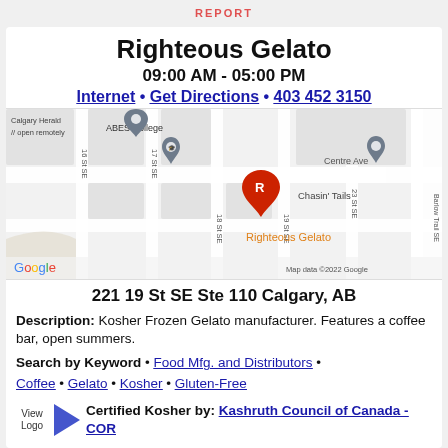REPORT
Righteous Gelato
09:00 AM - 05:00 PM
Internet • Get Directions • 403 452 3150
[Figure (map): Google Maps screenshot showing location of Righteous Gelato at 19 St SE, Calgary, with nearby landmarks: Calgary Herald (open remotely), ABES College, Chasin' Tails, Centre Ave, Barlow Trail SE. Map data ©2022 Google.]
221 19 St SE Ste 110 Calgary, AB
Description: Kosher Frozen Gelato manufacturer. Features a coffee bar, open summers.
Search by Keyword • Food Mfg. and Distributors • Coffee • Gelato • Kosher • Gluten-Free
View Logo ▶ Certified Kosher by: Kashruth Council of Canada - COR